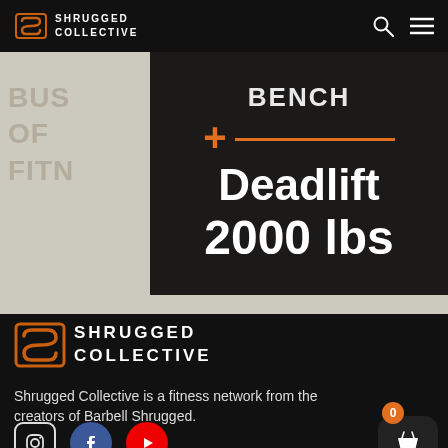Shrugged Collective — navigation bar with logo, search and menu icons
[Figure (screenshot): Hero image showing text: Bench + Deadlift 2000 lbs over dark gym background, with watermark text BUS OF FITN and INESS NESS on sides, and OF FITNESS below]
[Figure (logo): Shrugged Collective logo — orange S icon + white SHRUGGED COLLECTIVE wordmark on black background]
Shrugged Collective is a fitness network from the creators of Barbell Shrugged.
[Figure (infographic): Social media icons: Instagram (outline), Facebook (blue circle), YouTube (red circle); shopping basket button with orange badge showing 0]